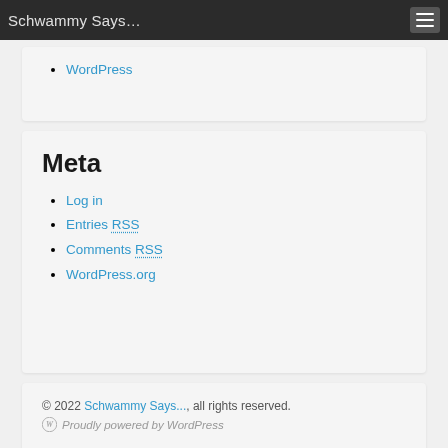Schwammy Says…
WordPress
Meta
Log in
Entries RSS
Comments RSS
WordPress.org
© 2022 Schwammy Says..., all rights reserved. Proudly powered by WordPress